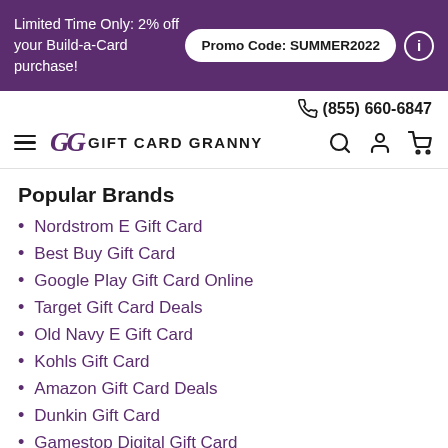Limited Time Only: 2% off your Build-a-Card purchase! Promo Code: SUMMER2022
(855) 660-6847
GG GIFT CARD GRANNY
Popular Brands
Nordstrom E Gift Card
Best Buy Gift Card
Google Play Gift Card Online
Target Gift Card Deals
Old Navy E Gift Card
Kohls Gift Card
Amazon Gift Card Deals
Dunkin Gift Card
Gamestop Digital Gift Card
Mcdonalds Gift Cards